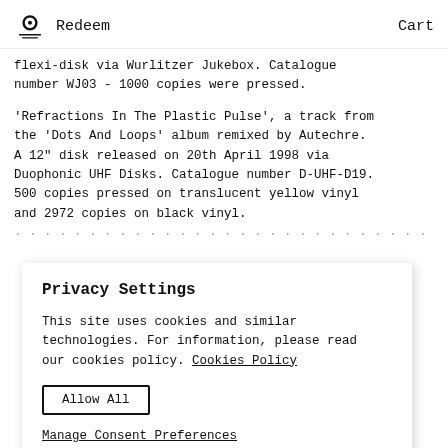Redeem   Cart
flexi-disk via Wurlitzer Jukebox. Catalogue number WJ03 - 1000 copies were pressed.
'Refractions In The Plastic Pulse', a track from the 'Dots And Loops' album remixed by Autechre. A 12″ disk released on 20th April 1998 via Duophonic UHF Disks. Catalogue number D-UHF-D19. 500 copies pressed on translucent yellow vinyl and 2972 copies on black vinyl.
Privacy Settings
This site uses cookies and similar technologies. For information, please read our cookies policy. Cookies Policy
Allow All
Manage Consent Preferences